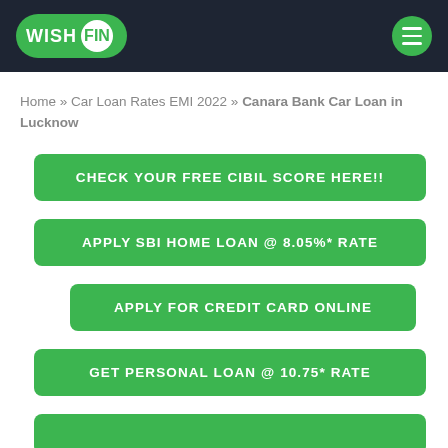WISH FIN
Home » Car Loan Rates EMI 2022 » Canara Bank Car Loan in Lucknow
CHECK YOUR FREE CIBIL SCORE HERE!!
APPLY SBI HOME LOAN @ 8.05%* RATE
APPLY FOR CREDIT CARD ONLINE
GET PERSONAL LOAN @ 10.75* RATE